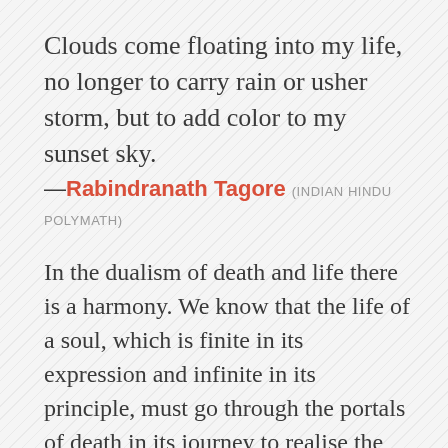Clouds come floating into my life, no longer to carry rain or usher storm, but to add color to my sunset sky.
—Rabindranath Tagore (INDIAN HINDU POLYMATH)
In the dualism of death and life there is a harmony. We know that the life of a soul, which is finite in its expression and infinite in its principle, must go through the portals of death in its journey to realise the infinite. It is death which is monistic, it has no life in it. But life is dualistic; it has an appearance as well as truth; and death is that